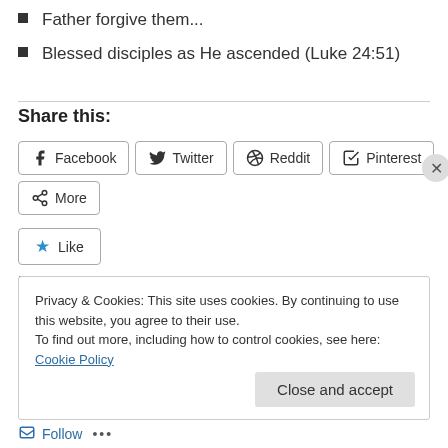Father forgive them...
Blessed disciples as He ascended (Luke 24:51)
Share this:
Facebook  Twitter  Reddit  Pinterest  More
Like
Be the first to like this.
Privacy & Cookies: This site uses cookies. By continuing to use this website, you agree to their use.
To find out more, including how to control cookies, see here: Cookie Policy
Close and accept
Follow ...